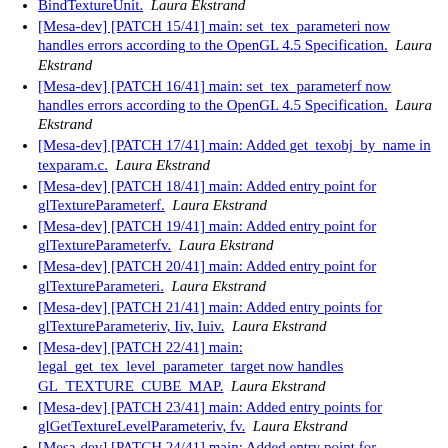BindTextureUnit.  Laura Ekstrand
[Mesa-dev] [PATCH 15/41] main: set_tex_parameteri now handles errors according to the OpenGL 4.5 Specification.  Laura Ekstrand
[Mesa-dev] [PATCH 16/41] main: set_tex_parameterf now handles errors according to the OpenGL 4.5 Specification.  Laura Ekstrand
[Mesa-dev] [PATCH 17/41] main: Added get_texobj_by_name in texparam.c.  Laura Ekstrand
[Mesa-dev] [PATCH 18/41] main: Added entry point for glTextureParameterf.  Laura Ekstrand
[Mesa-dev] [PATCH 19/41] main: Added entry point for glTextureParameterfv.  Laura Ekstrand
[Mesa-dev] [PATCH 20/41] main: Added entry point for glTextureParameteri.  Laura Ekstrand
[Mesa-dev] [PATCH 21/41] main: Added entry points for glTextureParameteriv, Iiv, Iuiv.  Laura Ekstrand
[Mesa-dev] [PATCH 22/41] main: legal_get_tex_level_parameter_target now handles GL_TEXTURE_CUBE_MAP.  Laura Ekstrand
[Mesa-dev] [PATCH 23/41] main: Added entry points for glGetTextureLevelParameteriv, fv.  Laura Ekstrand
[Mesa-dev] [PATCH 24/41] main: Added entry point for glGetTextureParameterfv.  Laura Ekstrand
[Mesa-dev] [PATCH 25/41] main: Added entry points for